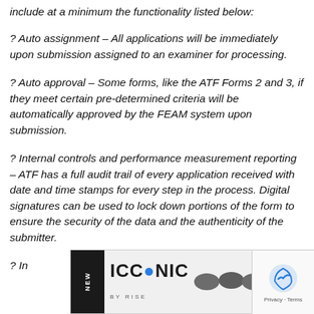include at a minimum the functionality listed below:
? Auto assignment – All applications will be immediately upon submission assigned to an examiner for processing.
? Auto approval – Some forms, like the ATF Forms 2 and 3, if they meet certain pre-determined criteria will be automatically approved by the FEAM system upon submission.
? Internal controls and performance measurement reporting – ATF has a full audit trail of every application received with date and time stamps for every step in the process. Digital signatures can be used to lock down portions of the form to ensure the security of the data and the authenticity of the submitter.
? In... Ma... fice of